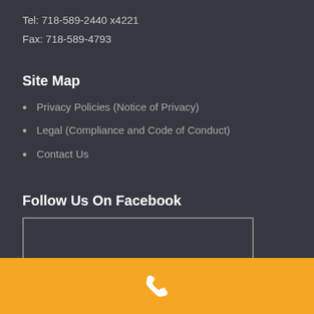Tel: 718-589-2440 x4221
Fax: 718-589-4793
Site Map
Privacy Policies (Notice of Privacy)
Legal (Compliance and Code of Conduct)
Contact Us
Follow Us On Facebook
[Figure (other): Empty Facebook widget box with border]
[Figure (other): Yellow footer bar with white phone icon]